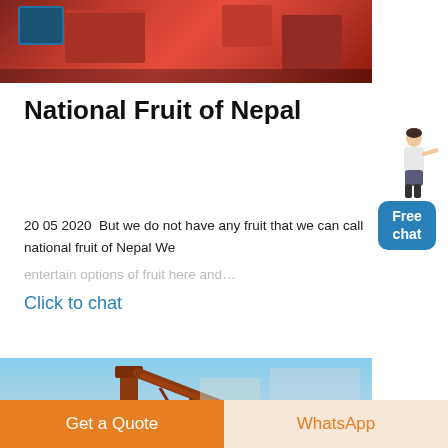[Figure (photo): Industrial red machinery with blue motor on factory floor]
National Fruit of Nepal
20 05 2020  But we do not have any fruit that we can call national fruit of Nepal We
Click to chat
[Figure (photo): Industrial crane/conveyor structure against a blue sky]
Get a Quote
WhatsApp